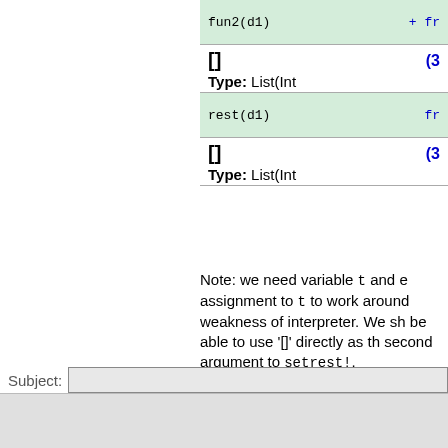| fun2(d1) | + fr... |
| [] | (3... |
| Type: List(Int... |  |
| rest(d1) | fr... |
| [] | (3... |
| Type: List(Int... |  |
Note: we need variable t and e... assignment to t to work around... weakness of interpreter. We sh... be able to use '[]' directly as th... second argument to setrest!.